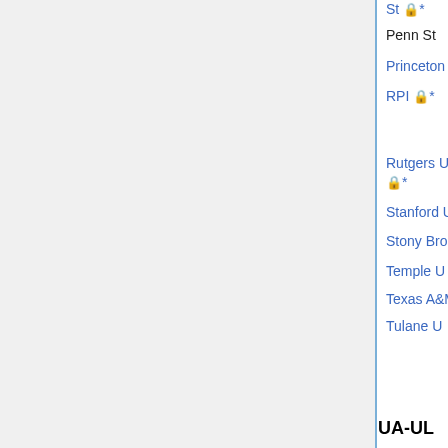| Institution | Type | Deadline | Status |
| --- | --- | --- | --- |
| St 🔒* |  |  |  |
| Penn St |  |  | shortlist(Jan 26) |
| Princeton U* | post doc | Dec 1 | offers (Jan 12) |
| RPI 🔒* | appl Ricketts Postdoc | Jan 15 | filled |
| Rutgers U, Newark 🔒* | post doc | Jan 1 |  |
| Stanford U | post doc | Dec 15 | filled (Feb 11) |
| Stony Brook U | post doc | Dec 15 |  |
| Temple U 🔒* | post doc |  |  |
| Texas A&M* 🔒 | visiting | Dec 1 |  |
| Tulane U 🔒* | biofluids postdoc | Dec 15 | Phone interviews mid Jan |
UA-UL